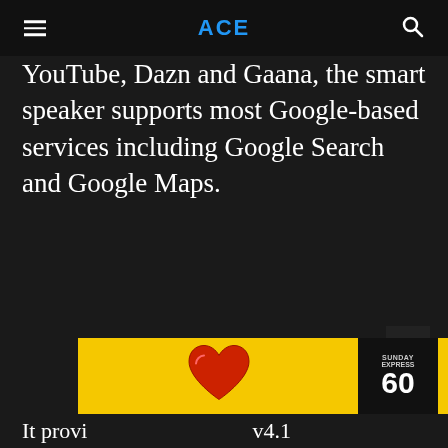ACE
YouTube, Dazn and Gaana, the smart speaker supports most Google-based services including Google Search and Google Maps.
[Figure (other): Advertisement banner with yellow background showing a red heart shape and a newspaper/magazine (Sunday Express) corner graphic]
It provi... v4.1